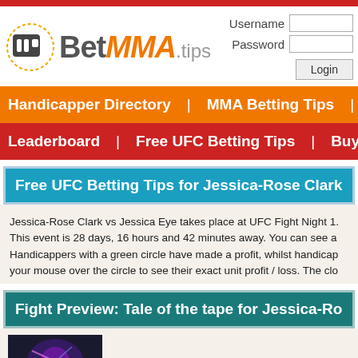BetMMA.tips — Username / Password / Login
Handicapper Directory | MMA Betting Tips | MMA Stats | Betting
Leaderboard | Free UFC Betting Tips | Buy Picks | Past MMA
Free UFC Betting Tips for Jessica-Rose Clark vs Jessica
Jessica-Rose Clark vs Jessica Eye takes place at UFC Fight Night 1. This event is 28 days, 16 hours and 42 minutes away. You can see a Handicappers with a green circle have made a profit, whilst handicap your mouse over the circle to see their exact unit profit / loss. The clo
Fight Preview: Tale of the tape for Jessica-Rose Clark vs
[Figure (photo): UFC glove / fighter promotional image thumbnail]